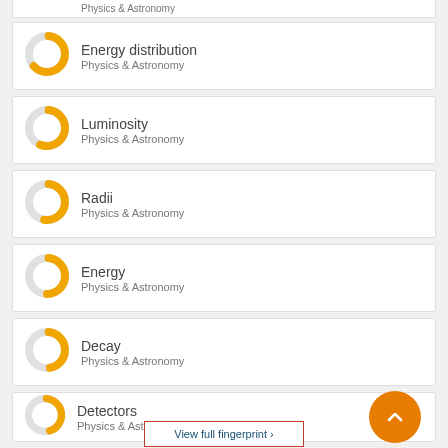Physics & Astronomy (top bar)
Energy distribution — Physics & Astronomy
Luminosity — Physics & Astronomy
Radii — Physics & Astronomy
Energy — Physics & Astronomy
Decay — Physics & Astronomy
Detectors — Physics & Astronomy
View full fingerprint >